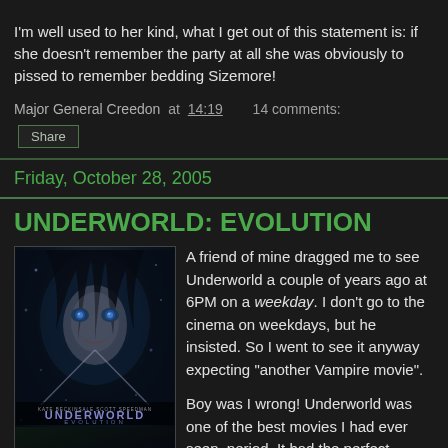I'm well used to her kind, what I get out of this statement is: if she doesn't remember the party at all she was obviously to pissed to remember bedding Sizemore!
Major General Creedon at 14:19    14 comments:
Share
Friday, October 28, 2005
UNDERWORLD: EVOLUTION
[Figure (photo): Movie poster for Underworld: Evolution featuring a dark-haired woman with blue eyes against a dark blue/black background with snowflakes, with the title 'UNDERWORLD EVOLUTION' and actor names Kate Beckinsale and Scott Speedman at the bottom.]
A friend of mine dragged me to see Underworld a couple of years ago at 6PM on a weekday. I don't go to the cinema on weekdays, but he insisted. So I went to see it anyway expecting "another Vampire movie".
Boy was I wrong! Underworld was one of the best movies I had ever seen, period. It had the perfect